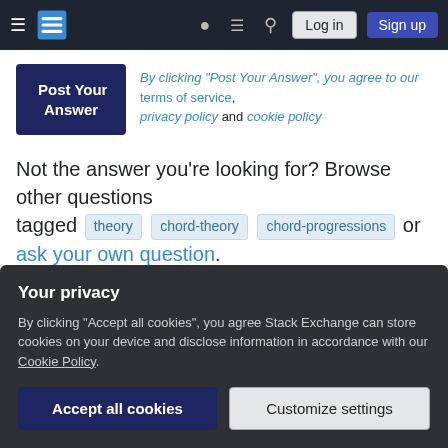Stack Exchange navigation bar with Log in and Sign up buttons
Post Your Answer — By clicking "Post Your Answer", you agree to our terms of service, privacy policy and cookie policy
Not the answer you're looking for? Browse other questions tagged theory chord-theory chord-progressions or ask your own question.
Featured on Meta
Announcing the Stack Overflow Student Ambassador...
Your privacy — By clicking "Accept all cookies", you agree Stack Exchange can store cookies on your device and disclose information in accordance with our Cookie Policy.